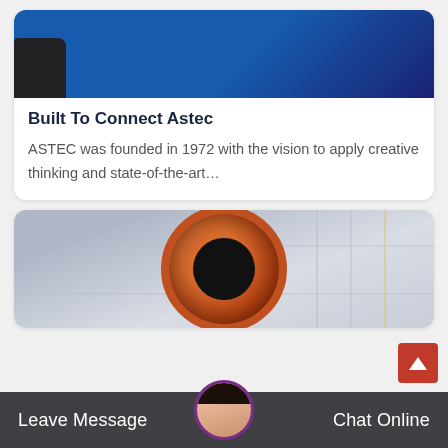[Figure (photo): Industrial blue machinery and equipment in a warehouse/factory setting]
Built To Connect Astec
ASTEC was founded in 1972 with the vision to apply creative thinking and state-of-the-art...
[Figure (photo): Large orange industrial drum/pipe in a factory with scaffolding and cranes in the background]